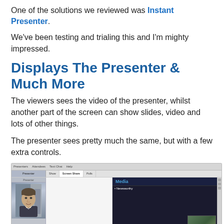One of the solutions we reviewed was Instant Presenter.
We've been testing and trialing this and I'm mighty impressed.
Displays The Presenter & Much More
The viewers sees the video of the presenter, whilst another part of the screen can show slides, video and lots of other things.
The presenter sees pretty much the same, but with a few extra controls.
[Figure (screenshot): Screenshot of Instant Presenter software interface showing a presenter video feed on the left, a blank slide area in the center, and a Media panel on the right with a 'Newsworthy' item and thumbnail image. Menu bar shows Presenters, Attendees, Text Chat, Help. Toolbar shows Show, Screen Share, Polls tabs.]